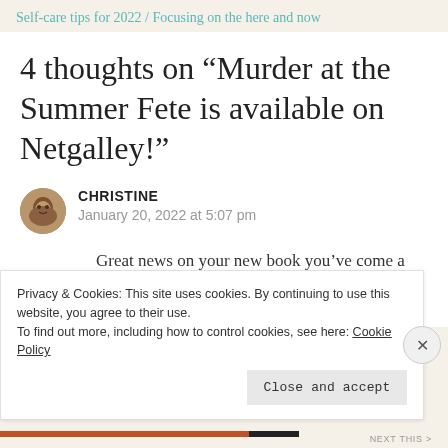Self-care tips for 2022 / Focusing on the here and now
4 thoughts on “Murder at the Summer Fete is available on Netgalley!”
CHRISTINE
January 20, 2022 at 5:07 pm
Great news on your new book you’ve come a long way hunni keep up the fab work you do x
Privacy & Cookies: This site uses cookies. By continuing to use this website, you agree to their use.
To find out more, including how to control cookies, see here: Cookie Policy
Close and accept